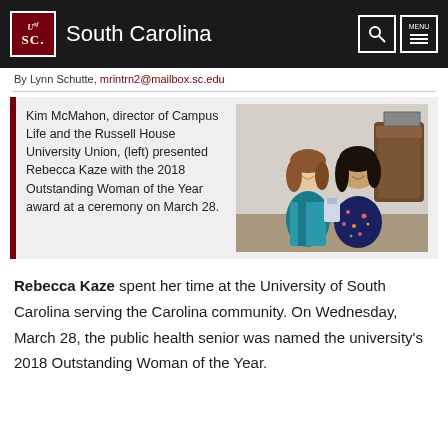University of South Carolina
By Lynn Schutte, mrintrn2@mailbox.sc.edu
[Figure (photo): Two women posing together indoors; one wearing a teal/turquoise jacket, the other wearing a dark floral dress, holding an award. A ornate chair is visible in the background.]
Kim McMahon, director of Campus Life and the Russell House University Union, (left) presented Rebecca Kaze with the 2018 Outstanding Woman of the Year award at a ceremony on March 28.
Rebecca Kaze spent her time at the University of South Carolina serving the Carolina community. On Wednesday, March 28, the public health senior was named the university's 2018 Outstanding Woman of the Year.